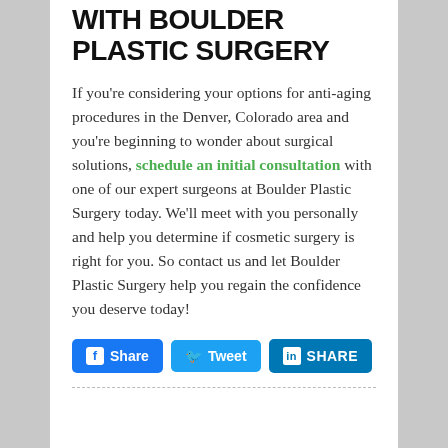WITH BOULDER PLASTIC SURGERY
If you're considering your options for anti-aging procedures in the Denver, Colorado area and you're beginning to wonder about surgical solutions, schedule an initial consultation with one of our expert surgeons at Boulder Plastic Surgery today. We'll meet with you personally and help you determine if cosmetic surgery is right for you. So contact us and let Boulder Plastic Surgery help you regain the confidence you deserve today!
[Figure (other): Social share buttons: Facebook Share, Twitter Tweet, LinkedIn SHARE]